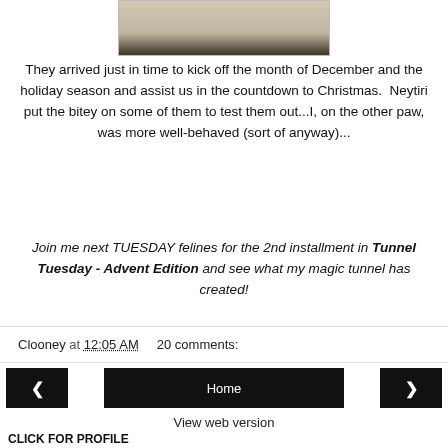[Figure (photo): Top portion of a photo showing what appears to be animal fur or a surface, cropped at the bottom of the image area]
They arrived just in time to kick off the month of December and the holiday season and assist us in the countdown to Christmas.  Neytiri put the bitey on some of them to test them out...I, on the other paw, was more well-behaved (sort of anyway)...
Join me next TUESDAY felines for the 2nd installment in Tunnel Tuesday - Advent Edition and see what my magic tunnel has created!
Clooney at 12:05 AM    20 comments:
< Home >
View web version
CLICK FOR PROFILE